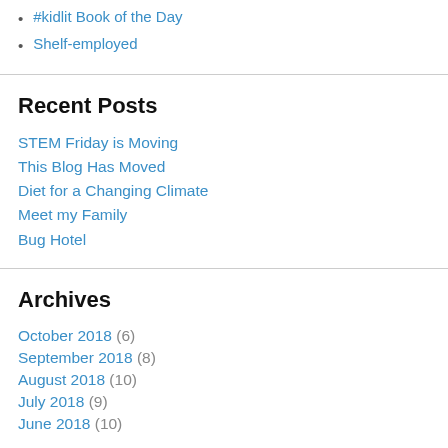#kidlit Book of the Day
Shelf-employed
Recent Posts
STEM Friday is Moving
This Blog Has Moved
Diet for a Changing Climate
Meet my Family
Bug Hotel
Archives
October 2018 (6)
September 2018 (8)
August 2018 (10)
July 2018 (9)
June 2018 (10)